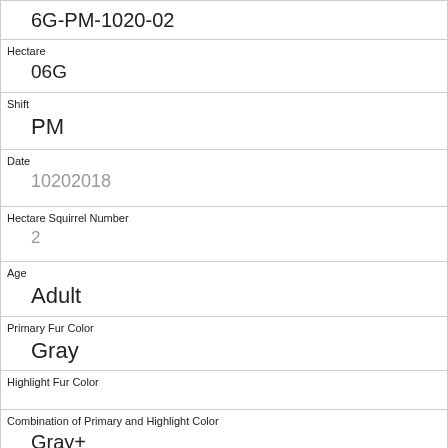| 6G-PM-1020-02 |
| Hectare | 06G |
| Shift | PM |
| Date | 10202018 |
| Hectare Squirrel Number | 2 |
| Age | Adult |
| Primary Fur Color | Gray |
| Highlight Fur Color |  |
| Combination of Primary and Highlight Color | Gray+ |
| Color notes |  |
| Location | Ground Plane |